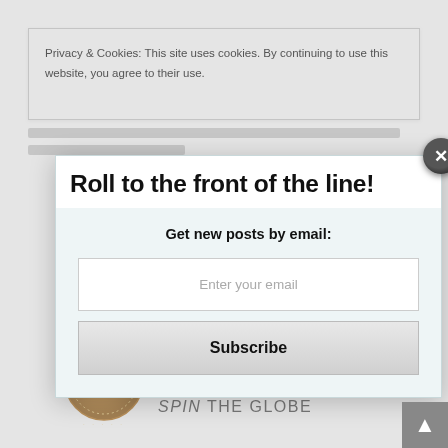Privacy & Cookies: This site uses cookies. By continuing to use this website, you agree to their use.
Roll to the front of the line!
Get new posts by email:
Enter your email
Subscribe
2020
MUSTER PHOTOGRAPHY AWARD
SINGLE SUBJECT PORTFOLIO
BRONZE AWARD
SPIN THE GLOBE